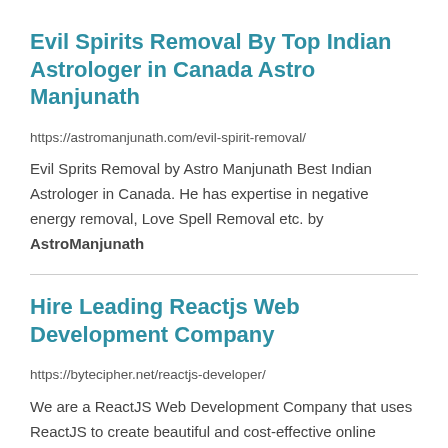Evil Spirits Removal By Top Indian Astrologer in Canada Astro Manjunath
https://astromanjunath.com/evil-spirit-removal/
Evil Sprits Removal by Astro Manjunath Best Indian Astrologer in Canada. He has expertise in negative energy removal, Love Spell Removal etc. by AstroManjunath
Hire Leading Reactjs Web Development Company
https://bytecipher.net/reactjs-developer/
We are a ReactJS Web Development Company that uses ReactJS to create beautiful and cost-effective online interfaces for modern web applications. Built to delight users  React JS uses a unique